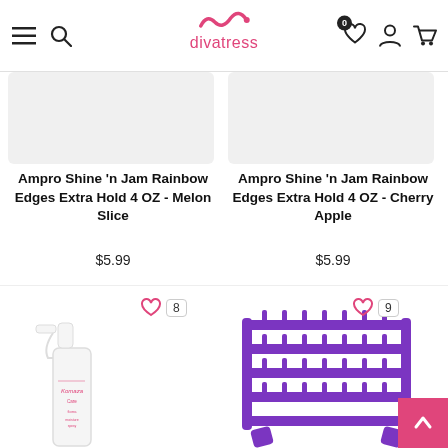divatress
[Figure (photo): Product image placeholder for Ampro Shine n Jam Rainbow Edges Extra Hold 4 OZ - Melon Slice]
Ampro Shine 'n Jam Rainbow Edges Extra Hold 4 OZ - Melon Slice
$5.99
[Figure (photo): Product image placeholder for Ampro Shine n Jam Rainbow Edges Extra Hold 4 OZ - Cherry Apple]
Ampro Shine 'n Jam Rainbow Edges Extra Hold 4 OZ - Cherry Apple
$5.99
[Figure (photo): White spray bottle with pink label]
[Figure (photo): Purple hair braiding rack / thread holder]